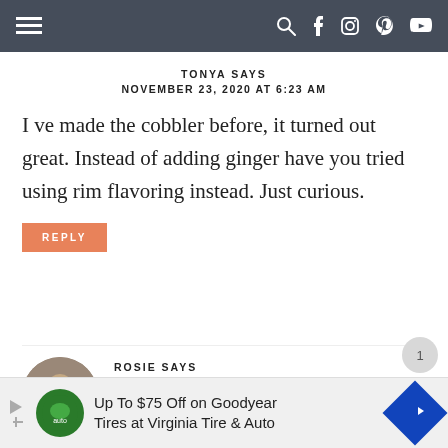Navigation bar with menu and social icons
TONYA SAYS
NOVEMBER 23, 2020 AT 6:23 AM
I ve made the cobbler before, it turned out great. Instead of adding ginger have you tried using rim flavoring instead. Just curious.
REPLY
ROSIE SAYS
NOVEMBER 24, 2020 AT 5:17 PM
[Figure (infographic): Advertisement banner: Up To $75 Off on Goodyear Tires at Virginia Tire & Auto]